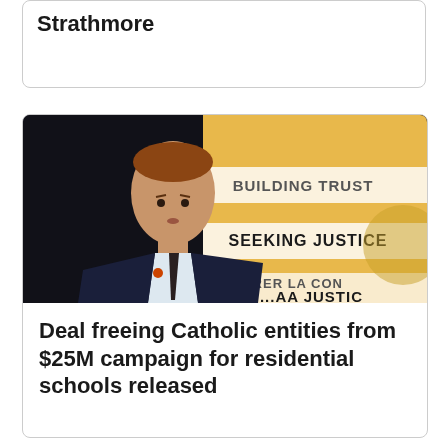Strathmore
[Figure (photo): A man in a dark suit with a dotted tie and small orange pin on lapel speaking at a podium or event, with a banner behind him reading 'BUILDING TRUST / SEEKING JUSTICE / RER LA CON / ...AA JUSTIC']
Deal freeing Catholic entities from $25M campaign for residential schools released